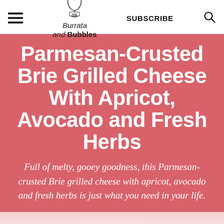Burrata and Bubbles — SUBSCRIBE
Parmesan-Crusted Brie Grilled Cheese With Apricot, Avocado and Fresh Herbs
Full of melty, gooey goodness, this Parmesan-crusted Brie grilled cheese with apricot, avocado and fresh herbs is just what you need in your life.